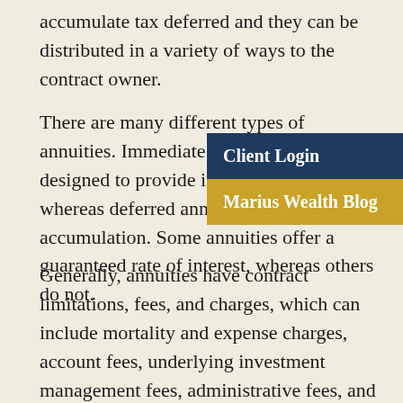accumulate tax deferred and they can be distributed in a variety of ways to the contract owner.
There are many different types of annuities. Immediate annuities are designed to provide income right away, whereas deferred annuities are designed for accumulation. Some annuities offer a guaranteed rate of interest, whereas others do not.
[Figure (screenshot): Navigation overlay with two buttons: 'Client Login' on dark navy background, and 'Marius Wealth Blog' on gold/yellow background]
Generally, annuities have contract limitations, fees, and charges, which can include mortality and expense charges, account fees, underlying investment management fees, administrative fees, and charges for optional benefits. Most annuities have surrender charges that are assessed during the early years of the contract if the contract owner surrenders the annuity. Withdrawals of annuity earnings are taxed as ordinary income and may be subject to surrender charges, plus a 10 percent federal